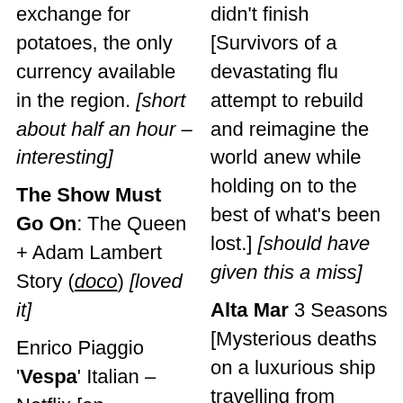exchange for potatoes, the only currency available in the region. [short about half an hour – interesting]
The Show Must Go On: The Queen + Adam Lambert Story (doco) [loved it]
Enrico Piaggio 'Vespa' Italian – Netflix [an engrossing biopic about the noted Italian entrepreneur and scooter pioneer] [loved it]
Season 2(ep.1) didn't finish [Survivors of a devastating flu attempt to rebuild and reimagine the world anew while holding on to the best of what's been lost.] [should have given this a miss]
Alta Mar 3 Seasons [Mysterious deaths on a luxurious ship travelling from